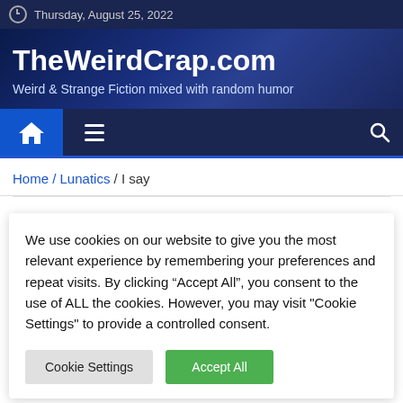Thursday, August 25, 2022
TheWeirdCrap.com
Weird & Strange Fiction mixed with random humor
Home / Lunatics / I say
We use cookies on our website to give you the most relevant experience by remembering your preferences and repeat visits. By clicking “Accept All”, you consent to the use of ALL the cookies. However, you may visit "Cookie Settings" to provide a controlled consent.